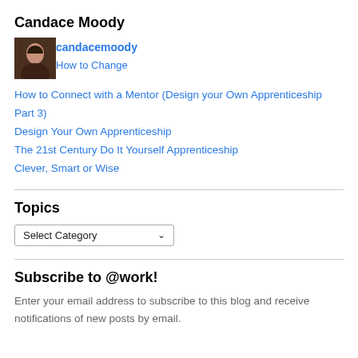Candace Moody
[Figure (photo): Small portrait photo of Candace Moody, a woman with dark hair]
candacemoody
How to Change
How to Connect with a Mentor (Design your Own Apprenticeship Part 3)
Design Your Own Apprenticeship
The 21st Century Do It Yourself Apprenticeship
Clever, Smart or Wise
Topics
Select Category
Subscribe to @work!
Enter your email address to subscribe to this blog and receive notifications of new posts by email.